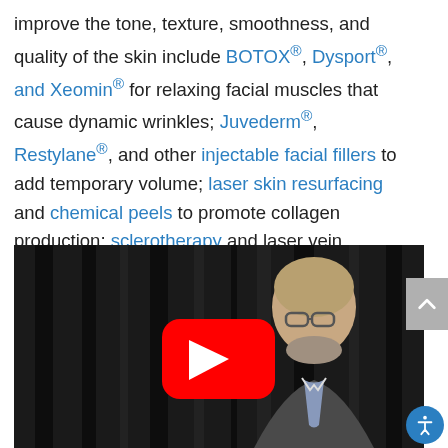improve the tone, texture, smoothness, and quality of the skin include BOTOX®, Dysport®, and Xeomin® for relaxing facial muscles that cause dynamic wrinkles; Juvederm®, Restylane®, and other injectable facial fillers to add temporary volume; laser skin resurfacing and chemical peels to promote collagen production; sclerotherapy and laser vein treatments to reduce visible vessels; and more.
[Figure (screenshot): A YouTube video thumbnail showing a man in a suit with glasses against a dark curtained background. A red YouTube play button is overlaid in the center.]